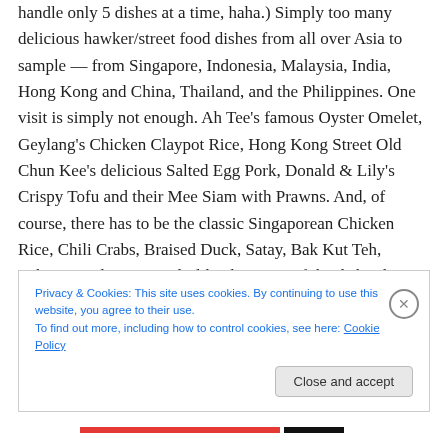handle only 5 dishes at a time, haha.) Simply too many delicious hawker/street food dishes from all over Asia to sample — from Singapore, Indonesia, Malaysia, India, Hong Kong and China, Thailand, and the Philippines. One visit is simply not enough. Ah Tee's famous Oyster Omelet, Geylang's Chicken Claypot Rice, Hong Kong Street Old Chun Kee's delicious Salted Egg Pork, Donald & Lily's Crispy Tofu and their Mee Siam with Prawns. And, of course, there has to be the classic Singaporean Chicken Rice, Chili Crabs, Braised Duck, Satay, Bak Kut Teh, Laksa… and so on. And I like that none of the dishes have
Privacy & Cookies: This site uses cookies. By continuing to use this website, you agree to their use.
To find out more, including how to control cookies, see here: Cookie Policy
Close and accept